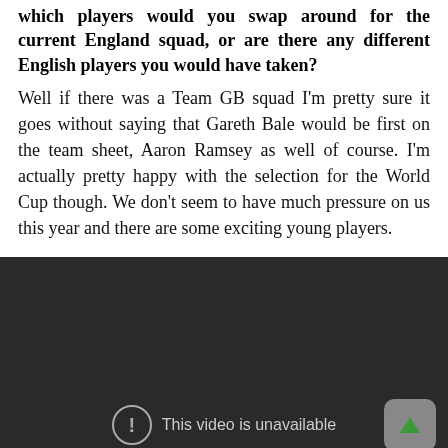which players would you swap around for the current England squad, or are there any different English players you would have taken?
Well if there was a Team GB squad I'm pretty sure it goes without saying that Gareth Bale would be first on the team sheet, Aaron Ramsey as well of course. I'm actually pretty happy with the selection for the World Cup though. We don't seem to have much pressure on us this year and there are some exciting young players.
[Figure (other): Embedded video player showing 'This video is unavailable' message on a dark background, with a scroll-up button in the bottom right corner.]